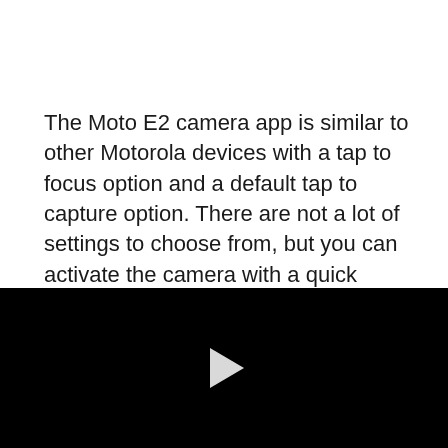The Moto E2 camera app is similar to other Motorola devices with a tap to focus option and a default tap to capture option. There are not a lot of settings to choose from, but you can activate the camera with a quick shake of your wrist. Check out the Moto E 2 photo samples below to see how it performs.
[Figure (other): Black video player area with a white play button triangle in the center]